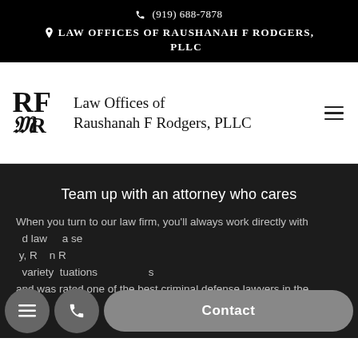(919) 688-7878
LAW OFFICES OF RAUSHANAH F RODGERS, PLLC
[Figure (logo): Law Offices of Raushanah F Rodgers PLLC monogram logo with RFR letters intertwined]
Law Offices of Raushanah F Rodgers, PLLC
Team up with an attorney who cares
When you turn to our law firm, you'll always work directly with a seasoned lawyer — a se… y, Raushanah R… variety of situations… and was rated one of the best criminal defense lawyers in the